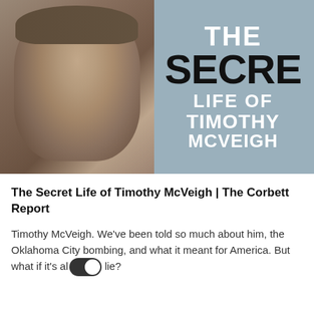[Figure (photo): Book cover showing a young man in military attire on the left half, and bold text on a grey-blue background on the right half reading: THE SECRET LIFE OF TIMOTHY MCVEIGH]
The Secret Life of Timothy McVeigh | The Corbett Report
Timothy McVeigh. We've been told so much about him, the Oklahoma City bombing, and what it meant for America. But what if it's al lie?